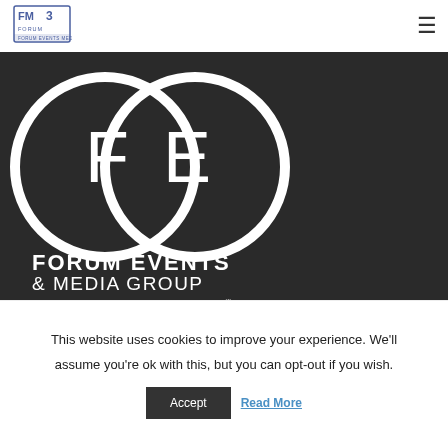[Figure (logo): FM3 Forum logo in top left nav bar]
[Figure (logo): Forum Events & Media Group logo with two overlapping circles containing letters F and E, with text FORUM EVENTS & MEDIA GROUP SYNCHRONISING BUSINESS]
With over 25 years combined experience, we bring companies together to synchronise into strong corporate partnerships. Our core values focus on delivering a premium service for our clients, with carefully tailored business connections, high calibre events and
This website uses cookies to improve your experience. We'll assume you're ok with this, but you can opt-out if you wish.
Accept
Read More